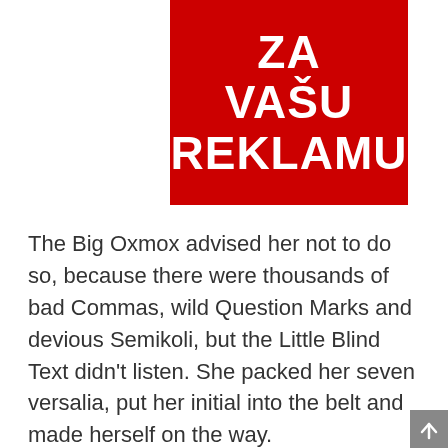[Figure (other): Red advertisement block with white bold text reading 'ZA VAŠU REKLAMU' on a red background]
The Big Oxmox advised her not to do so, because there were thousands of bad Commas, wild Question Marks and devious Semikoli, but the Little Blind Text didn't listen. She packed her seven versalia, put her initial into the belt and made herself on the way.
When she reached the first hills of the Italic Mountains, she had a last view back on the skyline of her hometown Bookmarksgrove, the headline of